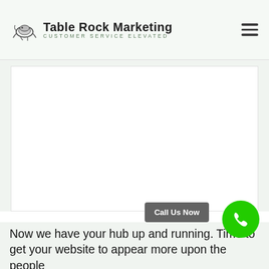Table Rock Marketing — CUSTOMER SERVICE ELEVATED
[Figure (screenshot): White content area below header, mostly blank/white space representing a webpage screenshot]
Call Us Now
Now we have your hub up and running. Time to get your website to appear more upon the people